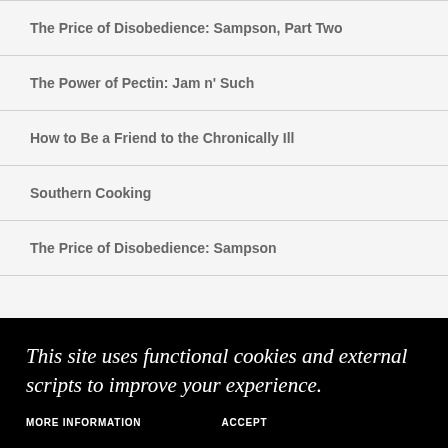The Price of Disobedience: Sampson, Part Two
The Power of Pectin: Jam n' Such
How to Be a Friend to the Chronically Ill
Southern Cooking
The Price of Disobedience: Sampson
This site uses functional cookies and external scripts to improve your experience.
MORE INFORMATION
ACCEPT
Blue Cotton Memory - Remember Me